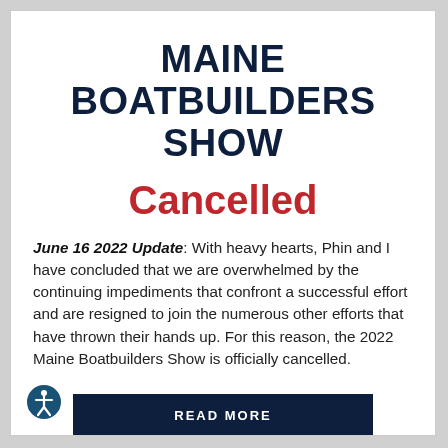MAINE BOATBUILDERS SHOW
Cancelled
June 16 2022 Update: With heavy hearts, Phin and I have concluded that we are overwhelmed by the continuing impediments that confront a successful effort and are resigned to join the numerous other efforts that have thrown their hands up.  For this reason, the 2022 Maine Boatbuilders Show is officially cancelled.
READ MORE
[Figure (illustration): Circular accessibility icon with a white figure on a dark blue background, located in the bottom-left corner.]